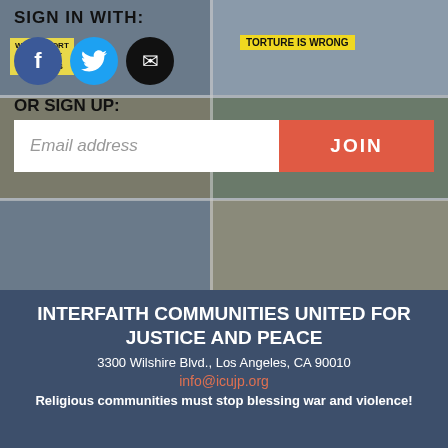[Figure (photo): Screenshot of a website signup page with a photo collage background showing protest scenes including people holding signs 'WE SUPPORT GROCERY WORKERS' and 'TORTURE IS WRONG']
SIGN IN WITH:
OR SIGN UP:
Email address
JOIN
INTERFAITH COMMUNITIES UNITED FOR JUSTICE AND PEACE
3300 Wilshire Blvd., Los Angeles, CA 90010
info@icujp.org
Religious communities must stop blessing war and violence!